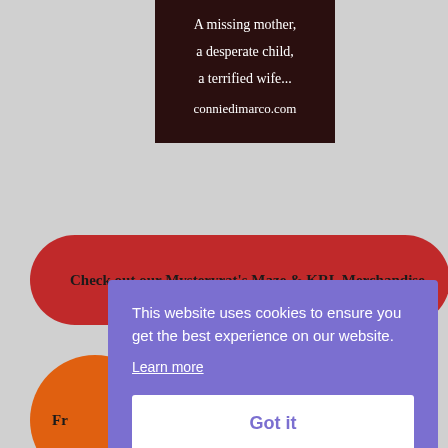[Figure (illustration): Dark brown/maroon book cover banner with white serif text: 'A missing mother, a desperate child, a terrified wife...' and website 'conniedimarco.com']
Check out our Mysteryrat's Maze & KRL Merchandise
Fr
This website uses cookies to ensure you get the best experience on our website. Learn more Got it